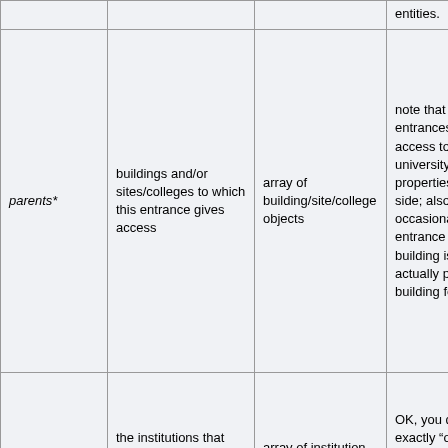|  |  |  | entities. |
| parents* | buildings and/or sites/colleges to which this entrance gives access | array of building/site/college objects | note that a few entrances give access to university properties on either side; also occasionally an entrance to a building isn't actually part of the building footprint. |
| occupants* | the institutions that gain access by this entrance | array of institution objects | OK, you don't exactly "occupy" an entrance, but consistent with buildings |
|  | the direction of a normal to the parent |  |  |